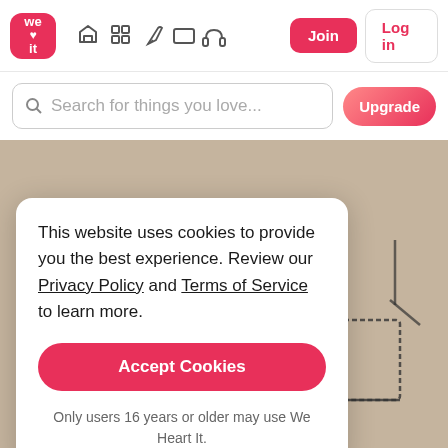[Figure (screenshot): We Heart It website navigation bar with logo, icons (home, grid, pen, rectangle, headphones), Join button, and Log in button]
Search for things you love...
[Figure (photo): Background image of a sketch/drawing on beige paper showing hands and radiating lines]
This website uses cookies to provide you the best experience. Review our Privacy Policy and Terms of Service to learn more.
Accept Cookies
Only users 16 years or older may use We Heart It.